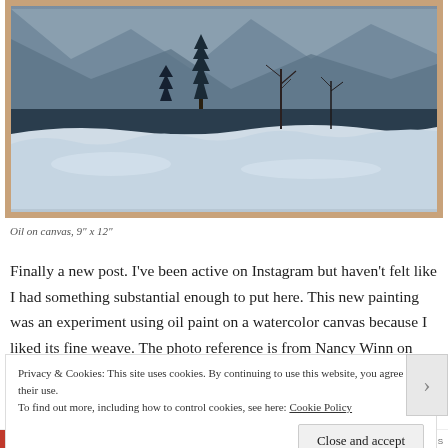[Figure (illustration): A framed oil painting showing a winter mountain landscape with evergreen trees, bare deciduous trees, snow-covered ground, and misty blue-grey mountains in the background. The frame is a warm tan/wood color.]
Oil on canvas, 9" x 12"
Finally a new post. I’ve been active on Instagram but haven’t felt like I had something substantial enough to put here. This new painting was an experiment using oil paint on a watercolor canvas because I liked its fine weave. The photo reference is from Nancy Winn on Paint my Photo.
Privacy & Cookies: This site uses cookies. By continuing to use this website, you agree to their use.
To find out more, including how to control cookies, see here: Cookie Policy
Close and accept